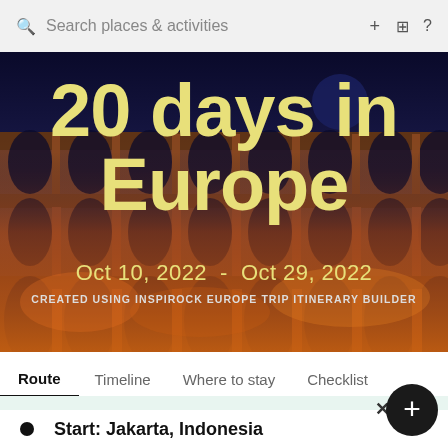Search places & activities
[Figure (photo): Background photo of the Colosseum in Rome, illuminated at night with warm golden lighting against a dark blue sky]
20 days in Europe
Oct 10, 2022 - Oct 29, 2022
CREATED USING INSPIROCK EUROPE TRIP ITINERARY BUILDER
Route  Timeline  Where to stay  Checklist
Make it your trip
Start: Jakarta, Indonesia